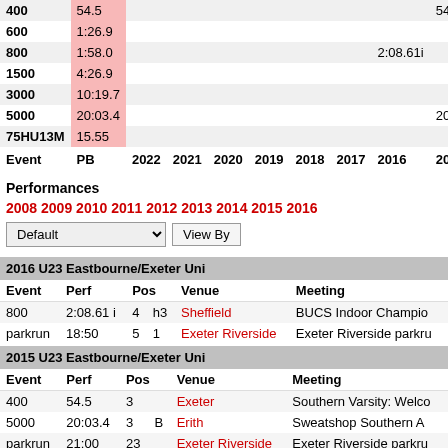| Event | PB | 2022 | 2021 | 2020 | 2019 | 2018 | 2017 | 2016 | 2015 | 2014 |
| --- | --- | --- | --- | --- | --- | --- | --- | --- | --- | --- |
| 400 | 54.5 |  |  |  |  |  |  |  | 54.5 |  |
| 600 | 1:26.9 |  |  |  |  |  |  |  |  |  |
| 800 | 1:58.0 |  |  |  |  |  |  | 2:08.61i |  | 2:05 |
| 1500 | 4:26.9 |  |  |  |  |  |  |  |  |  |
| 3000 | 10:19.7 |  |  |  |  |  |  |  |  |  |
| 5000 | 20:03.4 |  |  |  |  |  |  |  | 20:03.4 |  |
| 75HU13M | 15.55 |  |  |  |  |  |  |  |  |  |
| Event | PB | 2022 | 2021 | 2020 | 2019 | 2018 | 2017 | 2016 | 2015 | 2014 |
Performances
2008 2009 2010 2011 2012 2013 2014 2015 2016
| Event | Perf | Pos |  | Venue | Meeting |
| --- | --- | --- | --- | --- | --- |
| 800 | 2:08.61 i | 4 | h3 | Sheffield | BUCS Indoor Champio... |
| parkrun | 18:50 | 5 | 1 | Exeter Riverside | Exeter Riverside parkru... |
| Event | Perf | Pos |  | Venue | Meeting |
| --- | --- | --- | --- | --- | --- |
| 400 | 54.5 | 3 |  | Exeter | Southern Varsity: Welco... |
| 5000 | 20:03.4 | 3 | B | Erith | Sweatshop Southern A... |
| parkrun | 21:00 | 23 |  | Exeter Riverside | Exeter Riverside parkru... |
2014 U20 Eastbourne
| Event | Perf | Pos |  | Venue | Meeting |
| --- | --- | --- | --- | --- | --- |